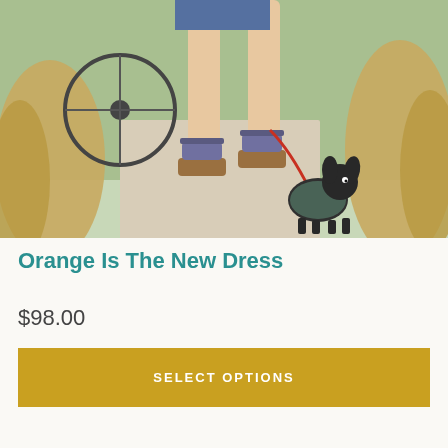[Figure (photo): Outdoor photo showing the legs of a woman in a denim dress wearing platform sandals with ankle straps, holding a red leash attached to a small chihuahua dog dressed in a patterned outfit. Background shows ornamental grasses, a bicycle, and greenery on a paved path.]
Orange Is The New Dress
$98.00
SELECT OPTIONS